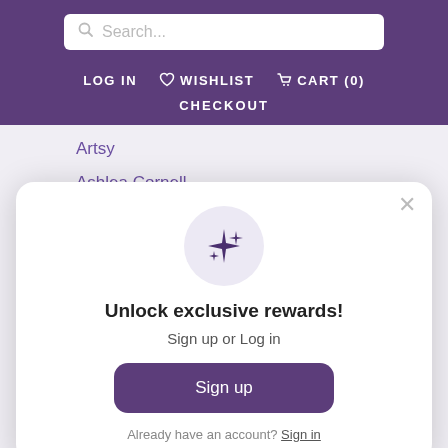Search...
LOG IN  WISHLIST  CART (0)  CHECKOUT
Artsy
Ashlea Cornell
[Figure (screenshot): Modal popup with sparkle icon, title 'Unlock exclusive rewards!', subtitle 'Sign up or Log in', a Sign up button, close button, and 'Already have an account? Sign in' link]
Baby